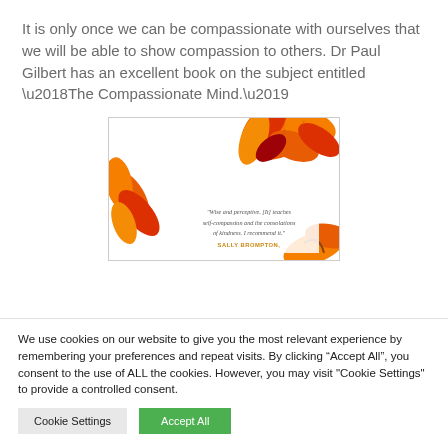It is only once we can be compassionate with ourselves that we will be able to show compassion to others.  Dr Paul Gilbert has an excellent book on the subject entitled ‘The Compassionate Mind.’
[Figure (photo): Book cover image with autumn leaves and a quote: 'Wise and perceptive. [It] teaches self-compassion and the consolations of kindness. I recommend it.' SALLY BROMPTON.]
We use cookies on our website to give you the most relevant experience by remembering your preferences and repeat visits. By clicking “Accept All”, you consent to the use of ALL the cookies. However, you may visit "Cookie Settings" to provide a controlled consent.